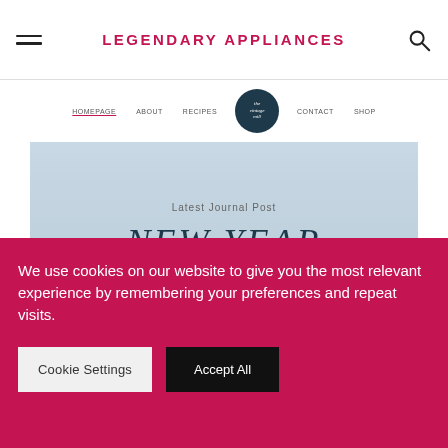LEGENDARY APPLIANCES
[Figure (screenshot): Website navigation bar with hamburger menu, brand name LEGENDARY APPLIANCES in crimson, and search icon]
[Figure (screenshot): Website nav with links: HOMEPAGE, ABOUT, RECIPES, circular logo badge, CONTACT, SHOP]
[Figure (screenshot): Hero banner with light blue background showing 'Latest Journal Post' subtitle and 'NEW YEAR' in italic handwritten-style font with teal bottom strip]
We use cookies on our website to give you the most relevant experience by remembering your preferences and repeat visits.
Cookie Settings   Accept All